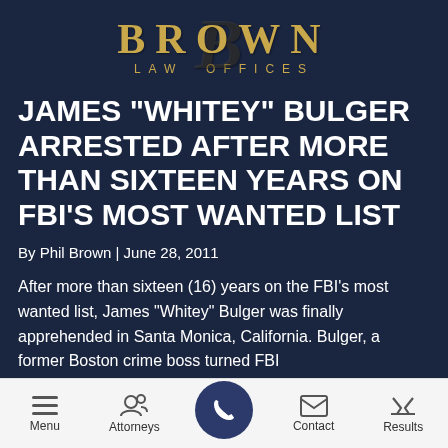[Figure (logo): Brown Law Offices logo with ornate B watermark and gold text on dark navy background]
JAMES "WHITEY" BULGER ARRESTED AFTER MORE THAN SIXTEEN YEARS ON FBI'S MOST WANTED LIST
By Phil Brown | June 28, 2011
After more than sixteen (16) years on the FBI's most wanted list, James "Whitey" Bulger was finally apprehended in Santa Monica, California. Bulger, a former Boston crime boss turned FBI informant, became a major embarrassment to federal authorities
Menu | Attorneys | [Call button] | Contact | Results